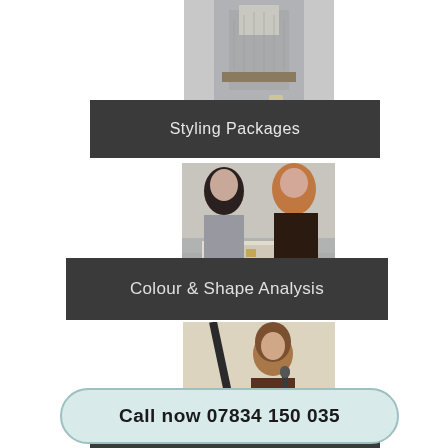[Figure (photo): Photo of a woman's torso wearing a grey coat with a belt, partially visible from waist up]
Styling Packages
[Figure (photo): Two women sitting at a table looking at fashion magazines or colour swatches]
Colour & Shape Analysis
[Figure (photo): A woman holding a microphone, speaking at an event in front of a board]
Events Speaker
Call now 07834 150 035